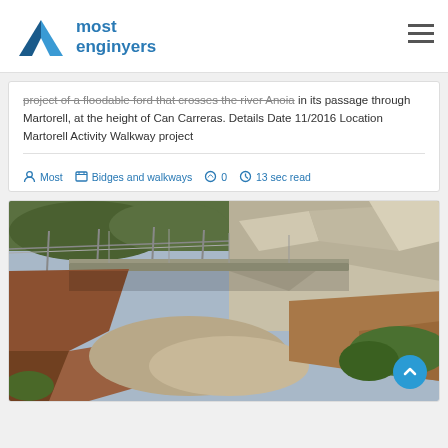most enginyers
project of a floodable ford that crosses the river Anoia in its passage through Martorell, at the height of Can Carreras. Details Date 11/2016 Location Martorell Activity Walkway project
Most  Bidges and walkways  0  13 sec read
[Figure (photo): Construction site photo showing a walkway/bridge structure over excavated terrain with rock wall in background]